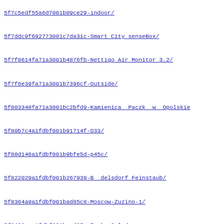5f7c5edf55a6d7001b09ce29-indoor/
5f7ddc9f692773001c7da31c-Smart City senseBox/
5f7f0614fa71a3001b4876fb-Nettigo Air Monitor 3.2/
5f7f6e39fa71a3001b7396cf-Outside/
5f803348fa71a3001bc2bfd9-Kamienica  Paczk  w  Opolskie
5f80b7c4a1fdbf001b91714f-D33/
5f80d146a1fdbf001b9bfe5d-p45c/
5f822029a1fdbf001b267939-B  delsdorf Feinstaub/
5f8364a9a1fdbf001bad85c8-Moscow-Zuzino-1/
5f8408caa1fdbf001beed87e-Tarko-Sale/